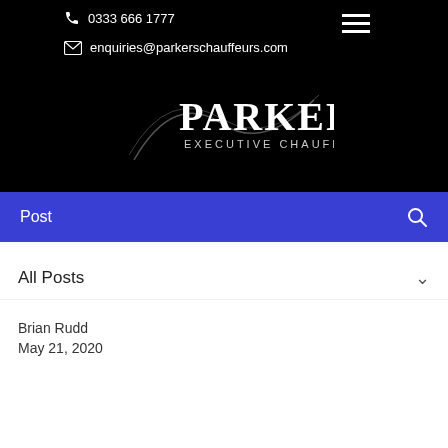0333 666 1777 | enquiries@parkerschauffeurs.com
[Figure (logo): Parkers Executive Chauffeurs logo — stylized silver lettering 'PARKERS' with 'EXECUTIVE CHAUFFEURS' below, on black background with decorative swoosh]
Post
All Posts
Brian Rudd
May 21, 2020
Grand Designs
Meeting interesting people via our